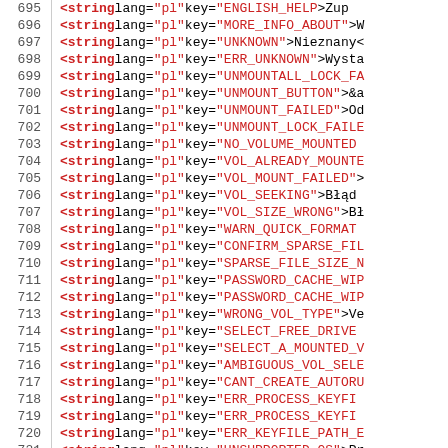[Figure (screenshot): Source code listing showing XML string elements with line numbers 695-725, featuring Polish language localization keys with red/bold syntax highlighting for tags and attribute values.]